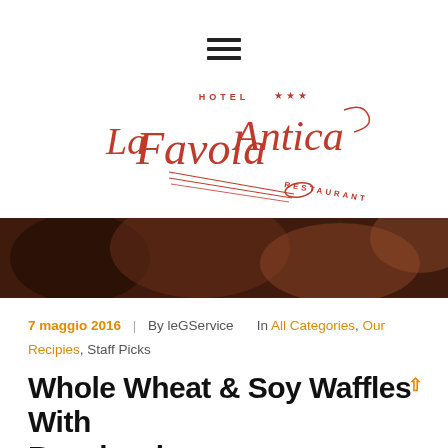[Figure (logo): Hamburger menu icon (three horizontal lines)]
[Figure (logo): La Favola Antica Hotel Restaurant logo in red cursive script with fork design and stars]
[Figure (photo): Hero banner image showing food/restaurant scene, blurred, dark reddish tones]
7 maggio 2016  |  By leGService  In All Categories, Our Recipies, Staff Picks
Whole Wheat & Soy Waffles With Raspberries